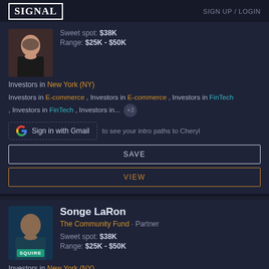SIGNAL | SIGN UP / LOGIN
Sweet spot: $38K
Range: $25K - $50K
Investors in New York (NY)
Investors in E-commerce, Investors in E-commerce, Investors in FinTech, Investors in FinTech, Investors in... +3
Sign in with Gmail to see your intro paths to Cheryl
SAVE
VIEW
Songe LaRon
The Community Fund · Partner
Sweet spot: $38K
Range: $25K - $50K
Investors in New York (NY)